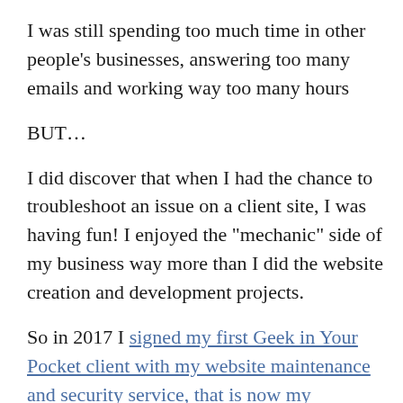I was still spending too much time in other people's businesses, answering too many emails and working way too many hours
BUT...
I did discover that when I had the chance to troubleshoot an issue on a client site, I was having fun! I enjoyed the "mechanic" side of my business way more than I did the website creation and development projects.
So in 2017 I signed my first Geek in Your Pocket client with my website maintenance and security service, that is now my Protection Plans.